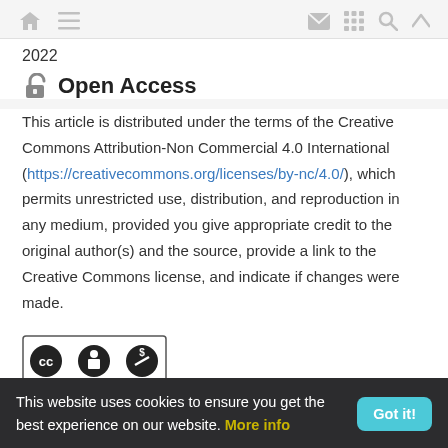2022
Open Access
This article is distributed under the terms of the Creative Commons Attribution-Non Commercial 4.0 International (https://creativecommons.org/licenses/by-nc/4.0/), which permits unrestricted use, distribution, and reproduction in any medium, provided you give appropriate credit to the original author(s) and the source, provide a link to the Creative Commons license, and indicate if changes were made.
[Figure (logo): Creative Commons BY-NC license badge with CC, BY, and NC icons]
This website uses cookies to ensure you get the best experience on our website. More info